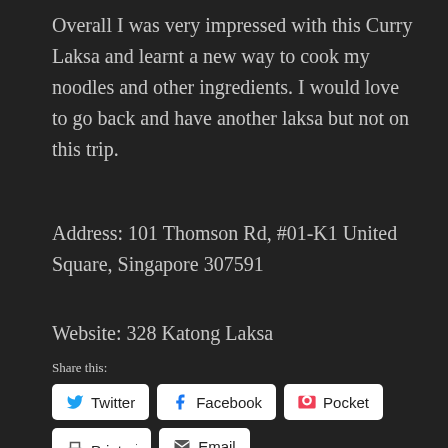Overall I was very impressed with this Curry Laksa and learnt a new way to cook my noodles and other ingredients. I would love to go back and have another laksa but not on this trip.
Address: 101 Thomson Rd, #01-K1 United Square, Singapore 307591
Website: 328 Katong Laksa
Share this:
Twitter
Facebook
Pocket
Tumblr
Email
Print